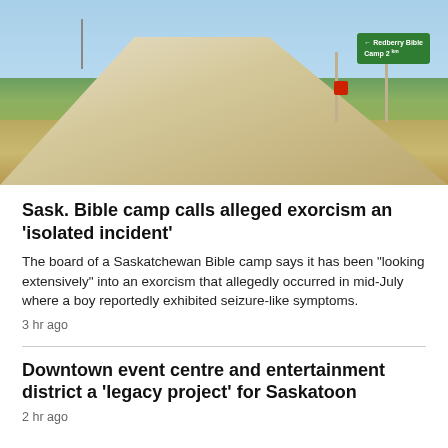[Figure (photo): A gravel road in rural Saskatchewan with a green sign reading 'Redberry Bible Camp 2 km' and a stop sign visible. Prairie fields and blue sky in background.]
Sask. Bible camp calls alleged exorcism an 'isolated incident'
The board of a Saskatchewan Bible camp says it has been "looking extensively" into an exorcism that allegedly occurred in mid-July where a boy reportedly exhibited seizure-like symptoms.
3 hr ago
Downtown event centre and entertainment district a 'legacy project' for Saskatoon
2 hr ago